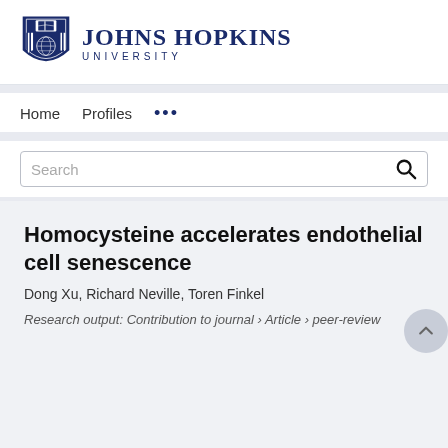[Figure (logo): Johns Hopkins University logo with shield crest and text]
Home   Profiles   ...
Search
Homocysteine accelerates endothelial cell senescence
Dong Xu, Richard Neville, Toren Finkel
Research output: Contribution to journal › Article › peer-review